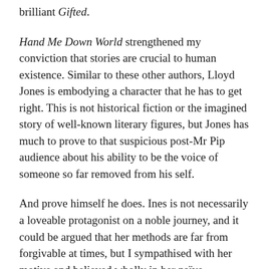brilliant Gifted.
Hand Me Down World strengthened my conviction that stories are crucial to human existence. Similar to these other authors, Lloyd Jones is embodying a character that he has to get right. This is not historical fiction or the imagined story of well-known literary figures, but Jones has much to prove to that suspicious post-Mr Pip audience about his ability to be the voice of someone so far removed from his self.
And prove himself he does. Ines is not necessarily a loveable protagonist on a noble journey, and it could be argued that her methods are far from forgivable at times, but I sympathised with her motive and believed wholly in her naïve determination to see her son